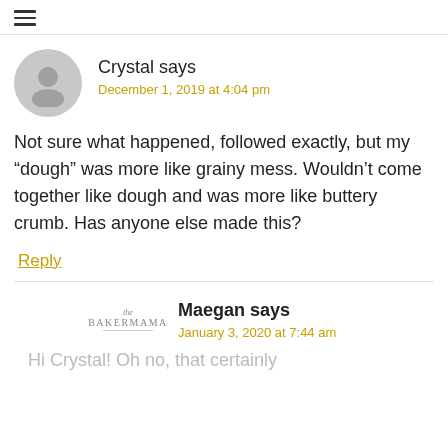≡
Crystal says
December 1, 2019 at 4:04 pm
Not sure what happened, followed exactly, but my “dough” was more like grainy mess. Wouldn’t come together like dough and was more like buttery crumb. Has anyone else made this?
Reply
Maegan says
January 3, 2020 at 7:44 am
Hi Crystal! Oh no, that certainly